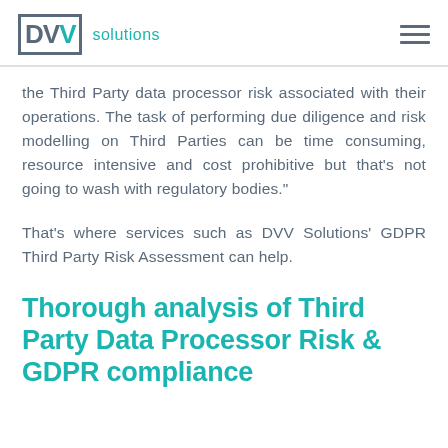DVV solutions
the Third Party data processor risk associated with their operations. The task of performing due diligence and risk modelling on Third Parties can be time consuming, resource intensive and cost prohibitive but that’s not going to wash with regulatory bodies.”
That’s where services such as DVV Solutions’ GDPR Third Party Risk Assessment can help.
Thorough analysis of Third Party Data Processor Risk & GDPR compliance